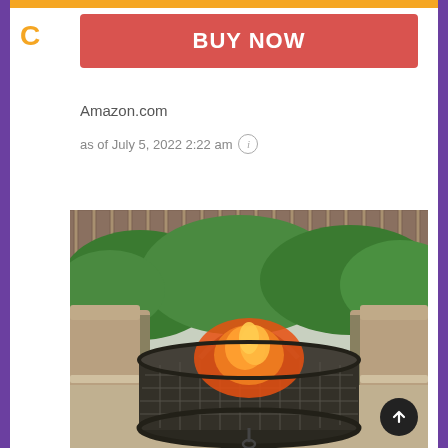[Figure (other): Red BUY NOW button]
Amazon.com
as of July 5, 2022 2:22 am ℹ
[Figure (photo): Outdoor fire pit with flames burning inside a round metal mesh basket with a domed screen, set on a patio surrounded by patio chairs and green shrubs]